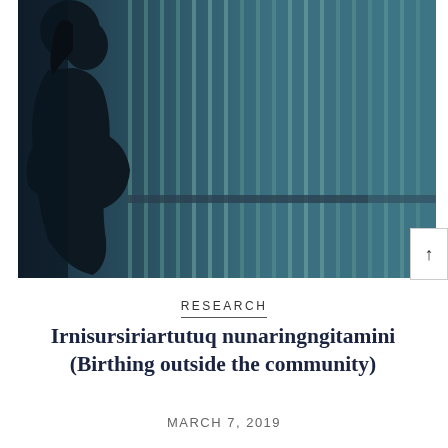[Figure (photo): Silhouette of a pregnant woman standing in front of teal-blue vertical blinds or curtains, dark moody lighting with the figure in shadow on the left side.]
RESEARCH
Irnisursiriartutuq nunaringngitamini (Birthing outside the community)
MARCH 7, 2019